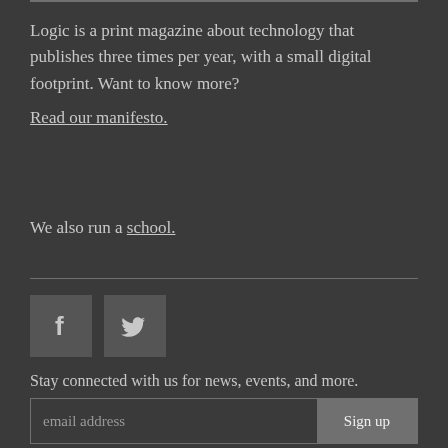Logic is a print magazine about technology that publishes three times per year, with a small digital footprint. Want to know more?
Read our manifesto.
We also run a school.
[Figure (infographic): Facebook and Twitter social media icons displayed as square buttons with dark background]
Stay connected with us for news, events, and more.
email address  Sign up